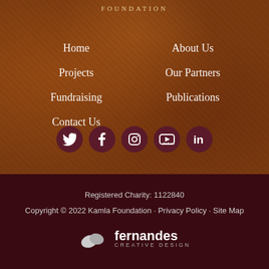FOUNDATION
Home
About Us
Projects
Our Partners
Fundraising
Publications
Contact Us
[Figure (infographic): Social media icons row: Twitter, Facebook, Instagram, YouTube, LinkedIn — each in a dark red circular badge on textured brown background]
[Figure (other): Orange 'Make a Donation' button]
Registered Charity: 1122840
Copyright © 2022 Kamla Foundation · Privacy Policy · Site Map
[Figure (logo): Fernandes Creative Design logo — white leaf shapes and white text 'fernandes CREATIVE DESIGN']